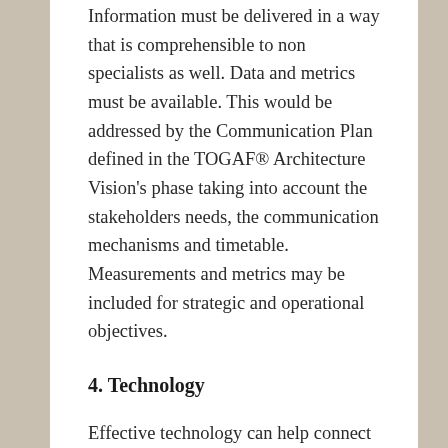Information must be delivered in a way that is comprehensible to non specialists as well. Data and metrics must be available. This would be addressed by the Communication Plan defined in the TOGAF® Architecture Vision's phase taking into account the stakeholders needs, the communication mechanisms and timetable. Measurements and metrics may be included for strategic and operational objectives.
4. Technology
Effective technology can help connect the other three dimensions. The idea is that technology plays a vital role in all processes and can enable timely information sharing, improve co-